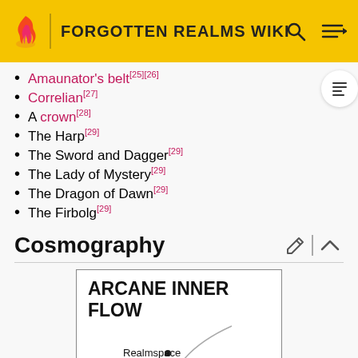FORGOTTEN REALMS WIKI
Amaunator's belt[25][26]
Correlian[27]
A crown[28]
The Harp[29]
The Sword and Dagger[29]
The Lady of Mystery[29]
The Dragon of Dawn[29]
The Firbolg[29]
Cosmography
[Figure (map): Arcane Inner Flow map showing Realmspace, with partial curved lines and labeled point.]